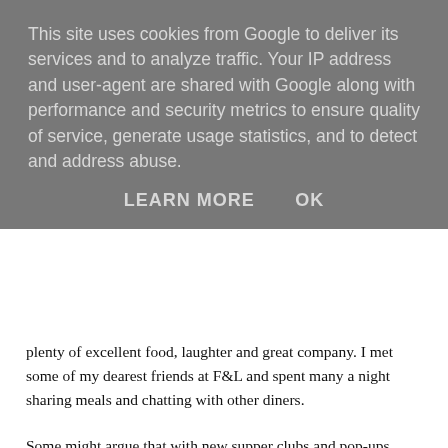This site uses cookies from Google to deliver its services and to analyze traffic. Your IP address and user-agent are shared with Google along with performance and security metrics to ensure quality of service, generate usage statistics, and to detect and address abuse.
LEARN MORE   OK
plenty of excellent food, laughter and great company. I met some of my dearest friends at F&L and spent many a night sharing meals and chatting with other diners.
Some might argue that with new supper clubs and pop-ups being launched every other day, the novelty factor is dwindling. I disagree, and if anything, nearly 3 years after the first supper clubs appeared in London, I still keep meeting people who have never experienced a supper club and would like to try one but do not know how to go about finding them.
Recently however, there were a few worrying comments that were made by friends who visited some of these new supper clubs. These varied from having to wait for hours to be served tiny amounts of food to experiencing uncaring or unprofessional service, at sometimes inappropriate venues. I would hope that if a